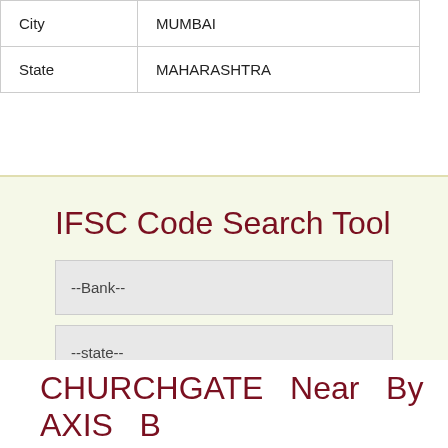| City | MUMBAI |
| State | MAHARASHTRA |
IFSC Code Search Tool
--Bank--
--state--
--District--
--Branch--
Refresh Tool
CHURCHGATE  Near  By  AXIS  B